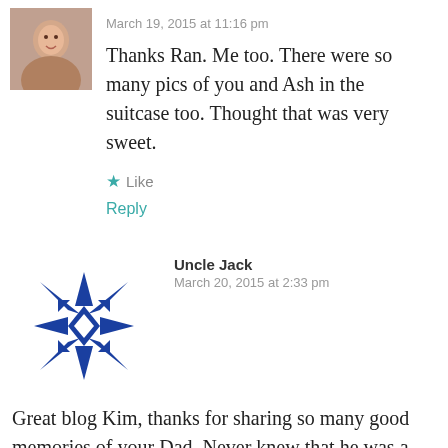[Figure (photo): Small circular avatar photo of a woman]
March 19, 2015 at 11:16 pm
Thanks Ran. Me too. There were so many pics of you and Ash in the suitcase too. Thought that was very sweet.
★ Like
Reply
[Figure (logo): Blue decorative snowflake/star pattern avatar for Uncle Jack]
Uncle Jack
March 20, 2015 at 2:33 pm
Great blog Kim, thanks for sharing so many good memories of your Dad. Never knew that he was a decorated Air Force veteran. Always will remember the great